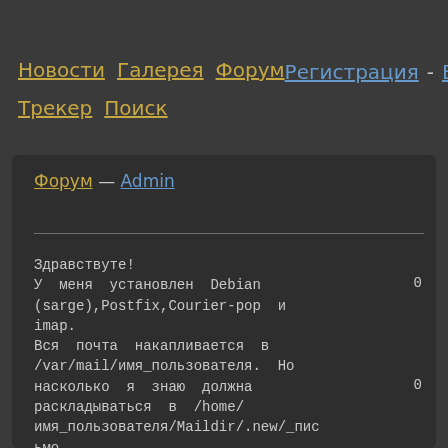Новости  Галерея  Форум
Трекер  Поиск
Регистрация - Вход
Форум — Admin
Здравствуте!
У меня установлен Debian (sarge),Postfix,Courier-pop и imap.
Вся почта накапливается в /var/mail/имя_пользователя. Но насколько я знаю должна раскладываться в /home/имя_пользователя/Maildir/.new/_пис
ьмо